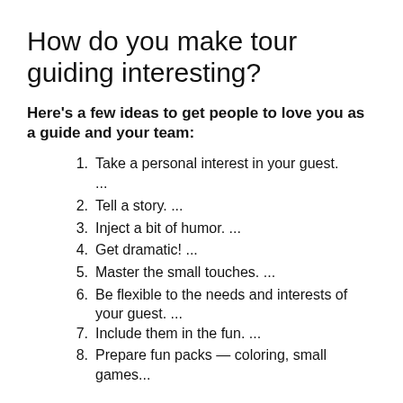How do you make tour guiding interesting?
Here’s a few ideas to get people to love you as a guide and your team:
1. Take a personal interest in your guest. ...
2. Tell a story. ...
3. Inject a bit of humor. ...
4. Get dramatic! ...
5. Master the small touches. ...
6. Be flexible to the needs and interests of your guest. ...
7. Include them in the fun. ...
8. Prepare fun packs — coloring, small games...